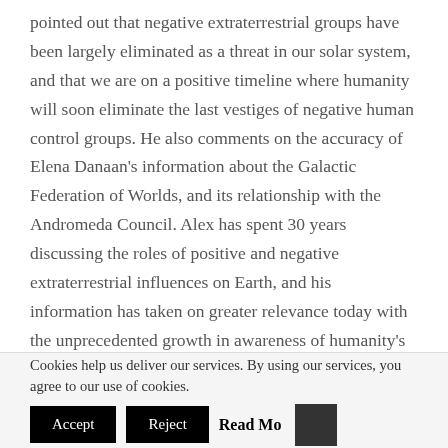pointed out that negative extraterrestrial groups have been largely eliminated as a threat in our solar system, and that we are on a positive timeline where humanity will soon eliminate the last vestiges of negative human control groups. He also comments on the accuracy of Elena Danaan's information about the Galactic Federation of Worlds, and its relationship with the Andromeda Council. Alex has spent 30 years discussing the roles of positive and negative extraterrestrial influences on Earth, and his information has taken on greater relevance today with the unprecedented growth in awareness of humanity's true situation with off-planet visitors and their human minions.
Cookies help us deliver our services. By using our services, you agree to our use of cookies.